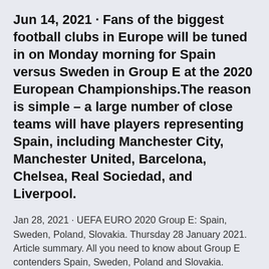Jun 14, 2021 · Fans of the biggest football clubs in Europe will be tuned in on Monday morning for Spain versus Sweden in Group E at the 2020 European Championships.The reason is simple – a large number of close teams will have players representing Spain, including Manchester City, Manchester United, Barcelona, Chelsea, Real Sociedad, and Liverpool.
Jan 28, 2021 · UEFA EURO 2020 Group E: Spain, Sweden, Poland, Slovakia. Thursday 28 January 2021. Article summary. All you need to know about Group E contenders Spain, Sweden, Poland and Slovakia.